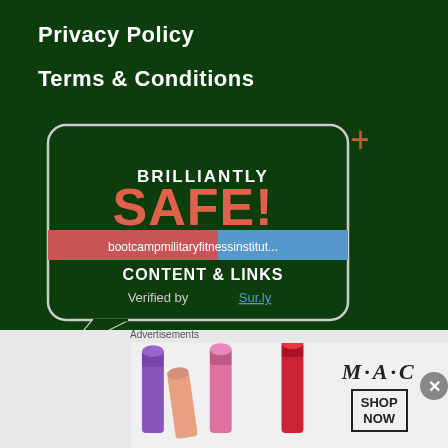Privacy Policy
Terms & Conditions
[Figure (logo): Brilliantly SAFE! badge with speech bubble border, showing text: BRILLIANTLY SAFE! bootcampmilitaryfitnessinstitut... CONTENT & LINKS Verified by Sur.ly, 2022]
DISCLAIMER
1. Material presented throughout this website